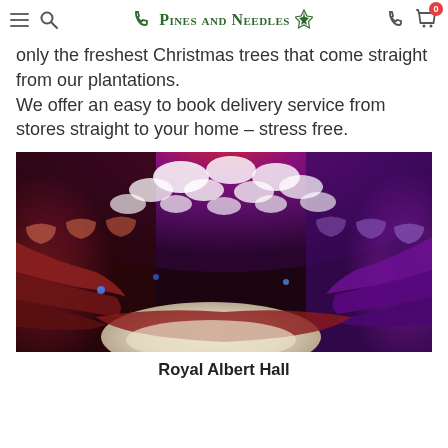Pines and Needles — navigation header with hamburger menu, search, phone, and cart icons
only the freshest Christmas trees that come straight from our plantations.
We offer an easy to book delivery service from stores straight to your home – stress free.
[Figure (photo): Interior panoramic photograph of the Royal Albert Hall showing red tiered seating, ornate arched galleries, and dramatic purple and red stage lighting with large white acoustic reflectors on the ceiling]
Royal Albert Hall